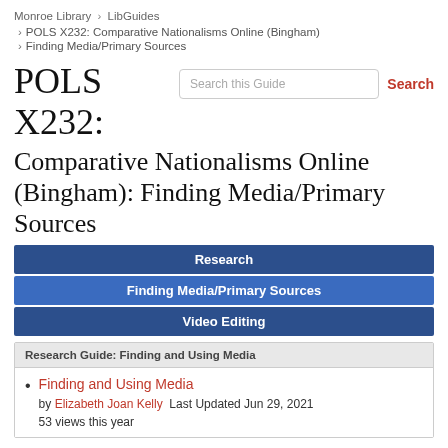Monroe Library › LibGuides
› POLS X232: Comparative Nationalisms Online (Bingham)
› Finding Media/Primary Sources
POLS X232:
Comparative Nationalisms Online (Bingham): Finding Media/Primary Sources
Research
Finding Media/Primary Sources
Video Editing
Research Guide: Finding and Using Media
Finding and Using Media by Elizabeth Joan Kelly  Last Updated Jun 29, 2021 53 views this year